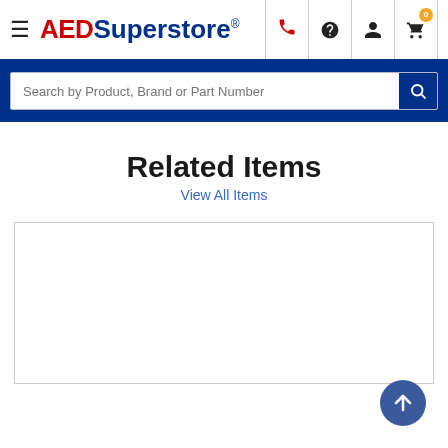[Figure (logo): AEDSuperstore logo with red AED and blue Superstore text]
[Figure (screenshot): Website header navigation with hamburger menu, phone, help, account, and cart icons]
Search by Product, Brand or Part Number
Related Items
View All Items
[Figure (screenshot): Product card placeholder (empty white box with border)]